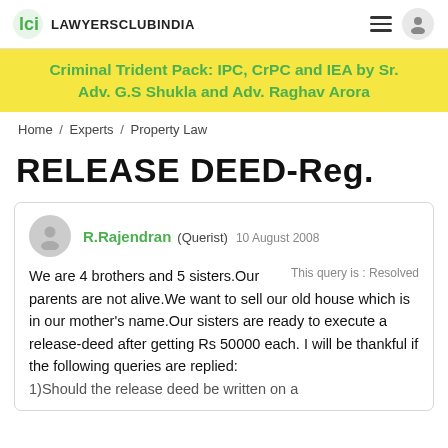LAWYERSCLUBINDIA
Criminal Trident Pack: IPC, CrPC and IEA by Sr. Adv. G.S Shukla and Adv. Raghav Arora
Home / Experts / Property Law
RELEASE DEED-Reg.
R.Rajendran (Querist) 10 August 2008
This query is : Resolved
We are 4 brothers and 5 sisters.Our parents are not alive.We want to sell our old house which is in our mother's name.Our sisters are ready to execute a release-deed after getting Rs 50000 each. I will be thankful if the following queries are replied:
1)Should the release deed be written on a